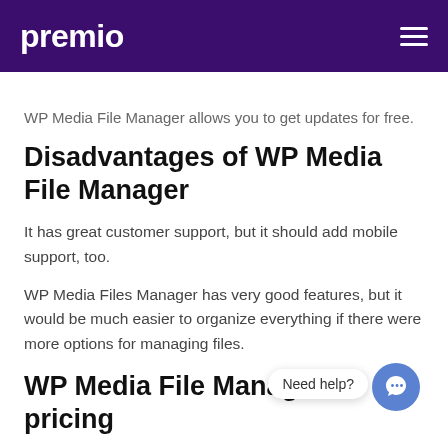premio
WP Media File Manager allows you to get updates for free.
Disadvantages of WP Media File Manager
It has great customer support, but it should add mobile support, too.
WP Media Files Manager has very good features, but it would be much easier to organize everything if there were more options for managing files.
WP Media File Manager's pricing